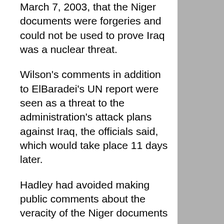March 7, 2003, that the Niger documents were forgeries and could not be used to prove Iraq was a nuclear threat.
Wilson's comments in addition to ElBaradei's UN report were seen as a threat to the administration's attack plans against Iraq, the officials said, which would take place 11 days later.
Hadley had avoided making public comments about the veracity of the Niger documents